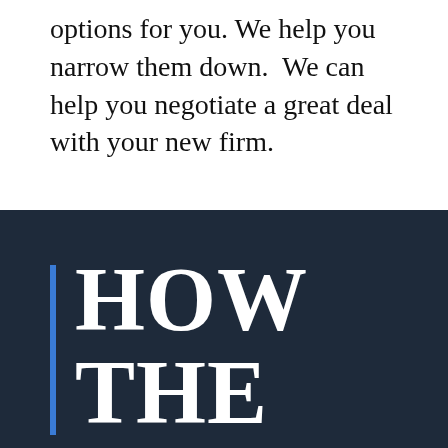options for you. We help you narrow them down.  We can help you negotiate a great deal with your new firm.
HOW THE PROCES